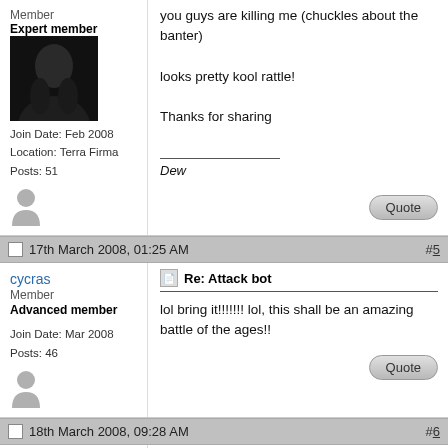Member
Expert member
[Figure (photo): Dark silhouette avatar photo of a person]
Join Date: Feb 2008
Location: Terra Firma
Posts: 51
you guys are killing me (chuckles about the banter)

looks pretty kool rattle!

Thanks for sharing

Dew
17th March 2008, 01:25 AM
#5
cycras
Member
Advanced member
Join Date: Mar 2008
Posts: 46
Re: Attack bot
lol bring it!!!!!!! lol, this shall be an amazing battle of the ages!!
18th March 2008, 09:28 AM
#6
Edymnion
Senior Member
Professional user
Re: Attack bot
Quote:
Originally Posted by